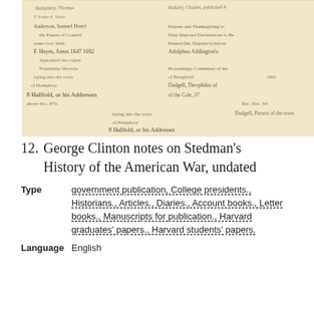[Figure (photo): Photograph of overlapping handwritten historical manuscript pages with cursive script on aged yellowed paper]
12.  George Clinton notes on Stedman's History of the American War, undated
Type   government publication, College presidents., Historians., Articles., Diaries., Account books., Letter books., Manuscripts for publication., Harvard graduates' papers., Harvard students' papers.
Language   English